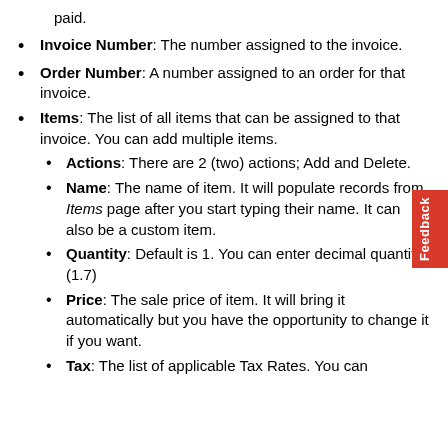paid.
Invoice Number: The number assigned to the invoice.
Order Number: A number assigned to an order for that invoice.
Items: The list of all items that can be assigned to that invoice. You can add multiple items.
Actions: There are 2 (two) actions; Add and Delete.
Name: The name of item. It will populate records from Items page after you start typing their name. It can also be a custom item.
Quantity: Default is 1. You can enter decimal quantity (1.7)
Price: The sale price of item. It will bring it automatically but you have the opportunity to change it if you want.
Tax: The list of applicable Tax Rates. You can